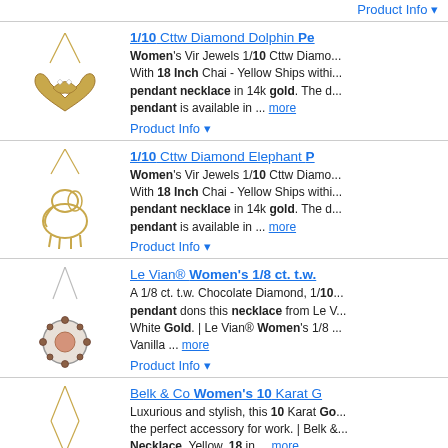Product Info ▼
[Figure (photo): Gold dolphin heart pendant necklace with diamond accents]
1/10 Cttw Diamond Dolphin Pe... Women's Vir Jewels 1/10 Cttw Diamo... With 18 Inch Chai - Yellow Ships withi... pendant necklace in 14k gold. The d... pendant is available in ... more
Product Info ▼
[Figure (photo): Gold elephant pendant necklace with diamond accents]
1/10 Cttw Diamond Elephant P... Women's Vir Jewels 1/10 Cttw Diamo... With 18 Inch Chai - Yellow Ships withi... pendant necklace in 14k gold. The d... pendant is available in ... more
Product Info ▼
[Figure (photo): Silver necklace with chocolate diamond and vanilla diamond round pendant by Le Vian]
Le Vian® Women's 1/8 ct. t.w.... A 1/8 ct. t.w. Chocolate Diamond, 1/10... pendant dons this necklace from Le V... White Gold. | Le Vian® Women's 1/8... Vanilla ... more
Product Info ▼
[Figure (photo): Gold necklace with blue gemstone pendant by Belk & Co]
Belk & Co Women's 10 Karat G... Luxurious and stylish, this 10 Karat Go... the perfect accessory for work. | Belk &... Necklace, Yellow, 18 in ... more
Product Info ▼